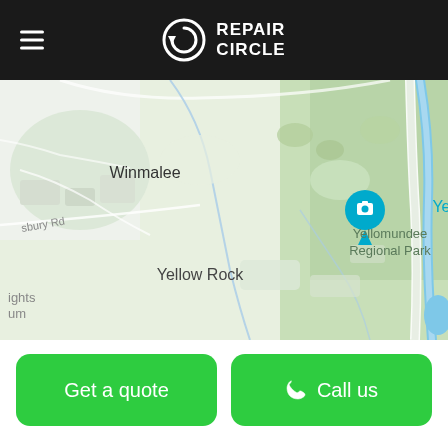REPAIR CIRCLE
[Figure (map): Google Maps screenshot showing Yellow Rock and surroundings in New South Wales, Australia. Shows Winmalee suburb, Yellow Rock locality, Yellow Rock lookout pin, Yellomundee Regional Park, and a road labeled 'sbury Rd'. The map has green areas indicating parkland and a blue river on the right side.]
Get a quote
Call us